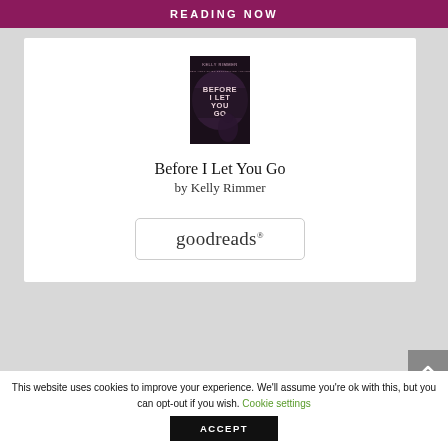READING NOW
[Figure (illustration): Book cover for 'Before I Let You Go' by Kelly Rimmer, showing a dark atmospheric cover with text 'KELLY RIMMER' at top and 'BEFORE I LET YOU GO' in large letters]
Before I Let You Go
by Kelly Rimmer
[Figure (logo): Goodreads logo button with rounded rectangle border reading 'goodreads' with a registered trademark symbol]
This website uses cookies to improve your experience. We'll assume you're ok with this, but you can opt-out if you wish. Cookie settings
ACCEPT